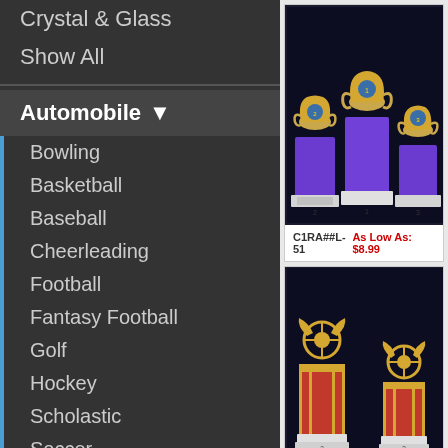Crystal & Glass
Show All
Automobile
Bowling
Basketball
Baseball
Cheerleading
Football
Fantasy Football
Golf
Hockey
Scholastic
Soccer
Softball
Swimming
Animals
[Figure (photo): Three gold and purple column trophies with cup tops, first, second, third place set]
C1RA##L-51
As Low As: $8.99
[Figure (photo): Three gold and red column trophies with wheel/steering wheel toppers, racing automobile trophy set]